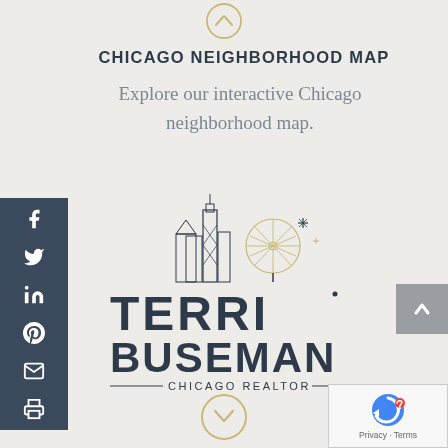[Figure (other): Up arrow chevron circle button at top center]
CHICAGO NEIGHBORHOOD MAP
Explore our interactive Chicago neighborhood map.
[Figure (logo): Terri Buseman Chicago Realtor logo with Chicago skyline illustration above the text]
[Figure (other): Social media share sidebar on the left with icons for Facebook, Twitter, LinkedIn, Pinterest, Email, and Print]
[Figure (other): Scroll up button on the right side]
[Figure (other): Down arrow chevron circle button at bottom center]
[Figure (other): Google reCAPTCHA badge at bottom right]